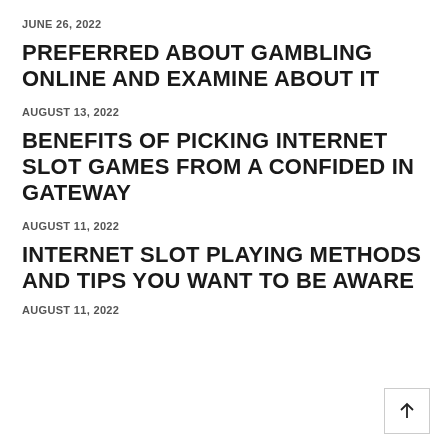JUNE 26, 2022
PREFERRED ABOUT GAMBLING ONLINE AND EXAMINE ABOUT IT
AUGUST 13, 2022
BENEFITS OF PICKING INTERNET SLOT GAMES FROM A CONFIDED IN GATEWAY
AUGUST 11, 2022
INTERNET SLOT PLAYING METHODS AND TIPS YOU WANT TO BE AWARE
AUGUST 11, 2022